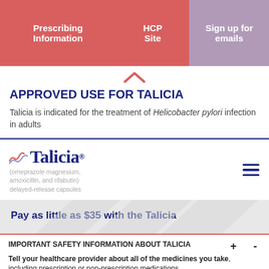Prescribing Information | HCP Site | Sign up for emails
[Figure (illustration): Upward-pointing chevron/caret icon in red-pink color]
APPROVED USE FOR TALICIA
Talicia is indicated for the treatment of Helicobacter pylori infection in adults
[Figure (logo): Talicia logo with wave graphic, brand name, registered trademark, and subtitle: (omeprazole magnesium, amoxicillin, and rifabutin) delayed-release capsules]
Pay as little as $35 with the Talicia
IMPORTANT SAFETY INFORMATION ABOUT TALICIA
Tell your healthcare provider about all of the medicines you take, including prescription or non-prescription medications